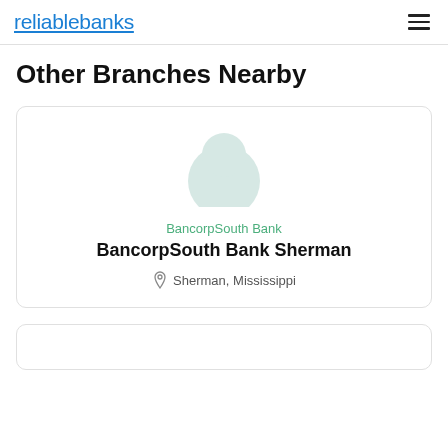reliablebanks
Other Branches Nearby
[Figure (illustration): Bank branch card with avatar placeholder (light teal half-circle), green bank name 'BancorpSouth Bank', bold branch name 'BancorpSouth Bank Sherman', and location 'Sherman, Mississippi' with a map pin icon]
BancorpSouth Bank
BancorpSouth Bank Sherman
Sherman, Mississippi